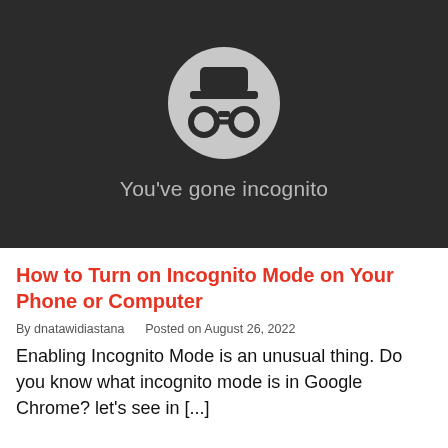[Figure (screenshot): Dark background with Google Chrome incognito mode icon (spy figure in a grey circle with hat and glasses) and the text 'You've gone incognito' in light grey]
How to Turn on Incognito Mode on Your Phone or Computer
By dnatawidiastana   Posted on August 26, 2022
Enabling Incognito Mode is an unusual thing. Do you know what incognito mode is in Google Chrome? let's see in [...]